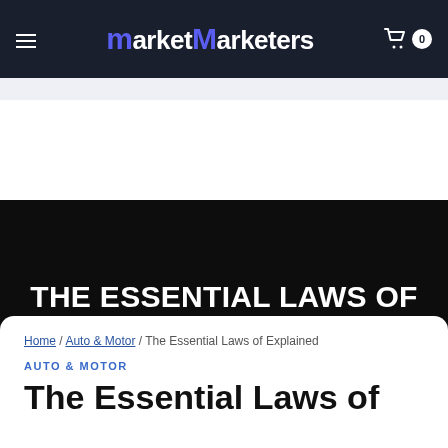Market Marketers
THE ESSENTIAL LAWS OF EXPLAINED
Home / Auto & Motor / The Essential Laws of Explained
AUTO & MOTOR
The Essential Laws of Explained